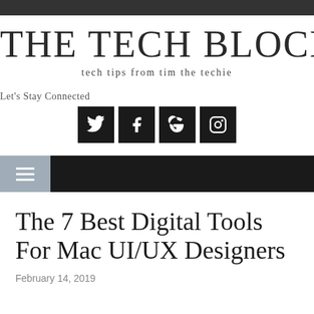THE TECH BLOCK
tech tips from tim the techie
Let's Stay Connected
[Figure (illustration): Four social media icons: Twitter, Facebook, Google+, Instagram — white icons on black square backgrounds]
[Figure (illustration): Navigation bar with hamburger menu icon on grey left panel and black right panel]
The 7 Best Digital Tools For Mac UI/UX Designers
February 14, 2019